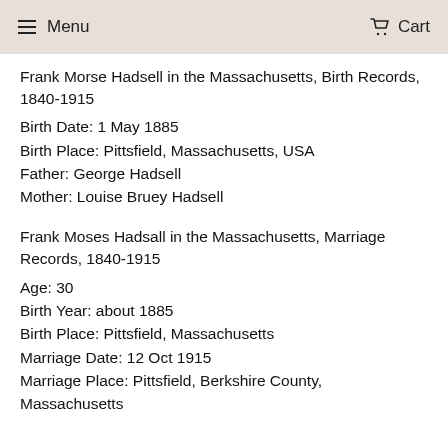Menu  Cart
Frank Morse Hadsell in the Massachusetts, Birth Records, 1840-1915
Birth Date: 1 May 1885
Birth Place: Pittsfield, Massachusetts, USA
Father: George Hadsell
Mother: Louise Bruey Hadsell
Frank Moses Hadsall in the Massachusetts, Marriage Records, 1840-1915
Age: 30
Birth Year: about 1885
Birth Place: Pittsfield, Massachusetts
Marriage Date: 12 Oct 1915
Marriage Place: Pittsfield, Berkshire County, Massachusetts